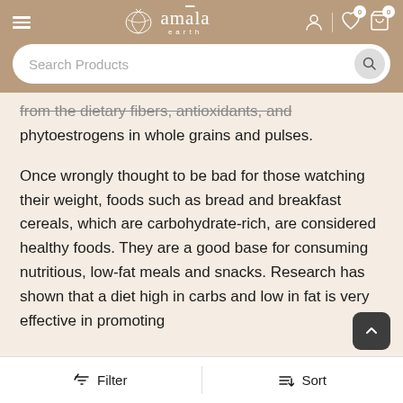amala earth — navigation header with search bar
from the dietary fibers, antioxidants, and phytoestrogens in whole grains and pulses.

Once wrongly thought to be bad for those watching their weight, foods such as bread and breakfast cereals, which are carbohydrate-rich, are considered healthy foods. They are a good base for consuming nutritious, low-fat meals and snacks. Research has shown that a diet high in carbs and low in fat is very effective in promoting weight loss and maintaining weight...
Filter   Sort